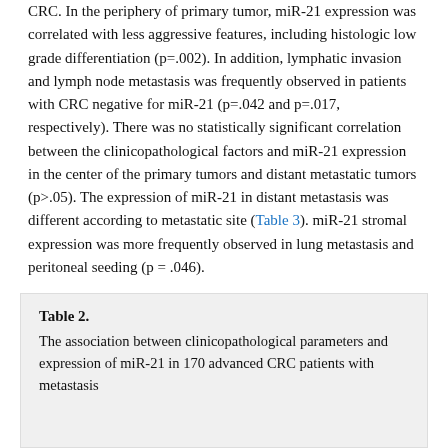CRC. In the periphery of primary tumor, miR-21 expression was correlated with less aggressive features, including histologic low grade differentiation (p=.002). In addition, lymphatic invasion and lymph node metastasis was frequently observed in patients with CRC negative for miR-21 (p=.042 and p=.017, respectively). There was no statistically significant correlation between the clinicopathological factors and miR-21 expression in the center of the primary tumors and distant metastatic tumors (p>.05). The expression of miR-21 in distant metastasis was different according to metastatic site (Table 3). miR-21 stromal expression was more frequently observed in lung metastasis and peritoneal seeding (p = .046).
Table 2. The association between clinicopathological parameters and expression of miR-21 in 170 advanced CRC patients with metastasis